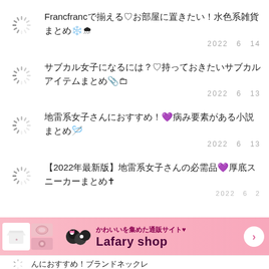Francfrancで揃える♡お部屋に置きたい！水色系雑貨まとめ❄️🌨️
サブカル女子になるには？♡持っておきたいサブカルアイテムまとめ📎📧
地雷系女子さんにおすすめ！💜病み要素がある小説まとめ🪡
【2022年最新版】地雷系女子さんの必需品💜厚底スニーカーまとめ✝
[Figure (infographic): Pink advertisement banner for Lafary shop with tagline かわいいを集めた通販サイト♥ and Lafary shop name, with small product images on left side]
んにおすすめ！ブランドネックレ